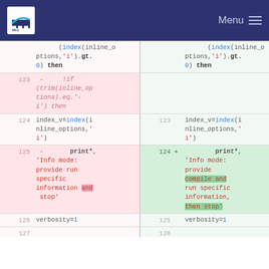NILU logo | Menu
[Figure (screenshot): Side-by-side code diff showing Fortran source changes. Left side (old) and right side (new) with line numbers and +/- markers. Shows changes to a print* statement: old version says 'Info mode: provide run specific information and stop', new version says 'Info mode: provide compile and run specific information, then stop'.]